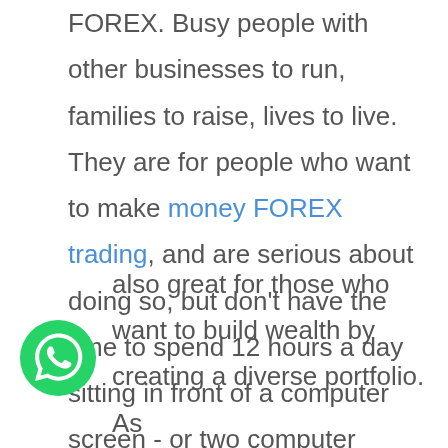FOREX. Busy people with other businesses to run, families to raise, lives to live. They are for people who want to make money FOREX trading, and are serious about doing so, but don't have the time to spend 12 hours a day sitting in front of a computer screen - or two computer screens, a set up many hardcore FOREX traders run - to do so.
[Figure (logo): WhatsApp green phone icon logo]
also great for those who want to build wealth by creating a diverse portfolio. As